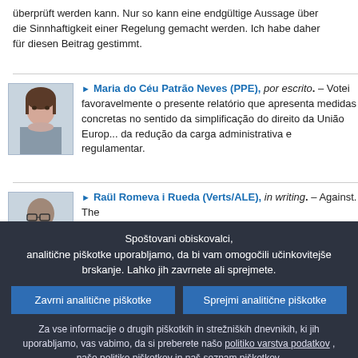überprüft werden kann. Nur so kann eine endgültige Aussage über die Sinnhaftigkeit einer Regelung gemacht werden. Ich habe daher für diesen Beitrag gestimmt.
[Figure (photo): Portrait photo of Maria do Céu Patrão Neves]
Maria do Céu Patrão Neves (PPE), por escrito. – Votei favoravelmente o presente relatório que apresenta medidas concretas no sentido da simplificação do direito da União Europeia e da redução da carga administrativa e regulamentar.
[Figure (photo): Portrait photo of Raül Romeva i Rueda]
Raül Romeva i Rueda (Verts/ALE), in writing. – Against. The report overemphasises the role of impact assessment and the u...
Spoštovani obiskovalci,
analitične piškotke uporabljamo, da bi vam omogočili učinkovitejše brskanje. Lahko jih zavrnete ali sprejmete.
Zavrni analitične piškotke
Sprejmi analitične piškotke
Za vse informacije o drugih piškotkih in strežniških dnevnikih, ki jih uporabljamo, vas vabimo, da si preberete našo politiko varstva podatkov , našo politiko piškotkov in naš seznam piškotkov.